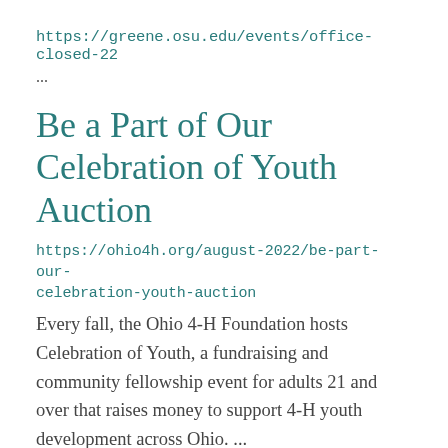https://greene.osu.edu/events/office-closed-22
...
Be a Part of Our Celebration of Youth Auction
https://ohio4h.org/august-2022/be-part-our-celebration-youth-auction
Every fall, the Ohio 4-H Foundation hosts Celebration of Youth, a fundraising and community fellowship event for adults 21 and over that raises money to support 4-H youth development across Ohio. ...
Celebrating Our Clock Trophy